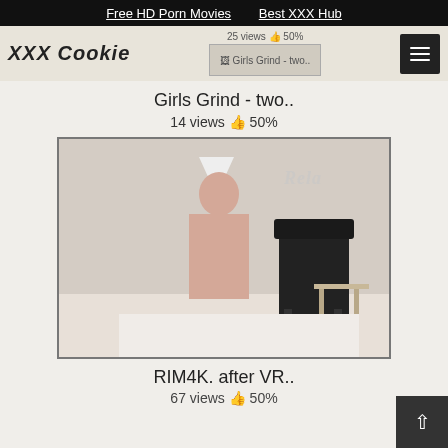Free HD Porn Movies   Best XXX Hub
[Figure (screenshot): Website header with XXX Cookie logo, small thumbnail of Girls Grind video showing image placeholder, and hamburger menu button]
Girls Grind - two..
14 views 👍 50%
[Figure (photo): Main video thumbnail showing adult content in a room with Relax watermark in upper right]
RIM4K. after VR..
67 views 👍 50%